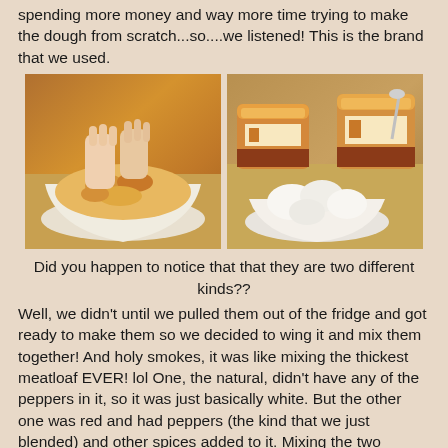spending more money and way more time trying to make the dough from scratch...so....we listened! This is the brand that we used.
[Figure (photo): Two side-by-side photos: left shows hands mixing orange/yellow crumbly dough in a white bowl; right shows two containers of refrigerated biscuit dough brand with white dough removed into a bowl.]
Did you happen to notice that that they are two different kinds??
Well, we didn't until we pulled them out of the fridge and got ready to make them so we decided to wing it and mix them together! And holy smokes, it was like mixing the thickest meatloaf EVER! lol One, the natural, didn't have any of the peppers in it, so it was just basically white.  But the other one was red and had peppers (the kind that we just blended) and other spices added to it.  Mixing the two together didn't